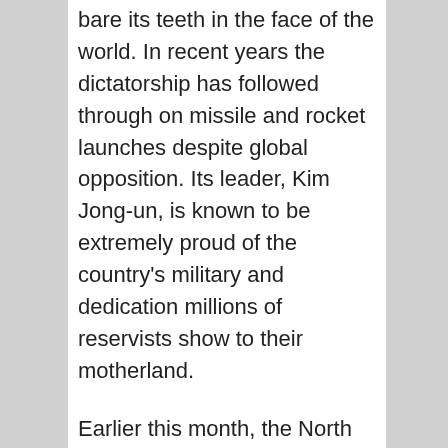bare its teeth in the face of the world. In recent years the dictatorship has followed through on missile and rocket launches despite global opposition. Its leader, Kim Jong-un, is known to be extremely proud of the country's military and dedication millions of reservists show to their motherland.
Earlier this month, the North moved to follow a plan of strategic “military action” against its neighbour, South Korea.
It came after hundreds of thousands of balloons carrying anti-Kim propaganda entered the North from the South.